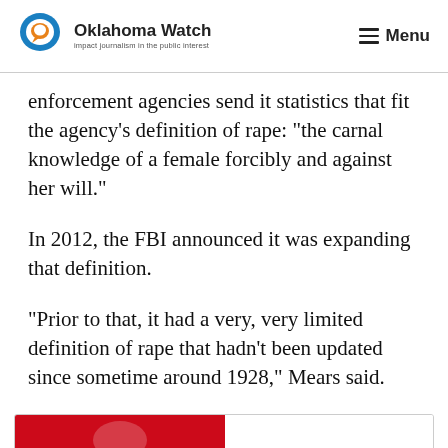Oklahoma Watch — Menu
enforcement agencies send it statistics that fit the agency’s definition of rape: “the carnal knowledge of a female forcibly and against her will.”
In 2012, the FBI announced it was expanding that definition.
“Prior to that, it had a very, very limited definition of rape that hadn’t been updated since sometime around 1928,” Mears said.
[Figure (other): Partial view of a red banner/advertisement at the bottom of the page]